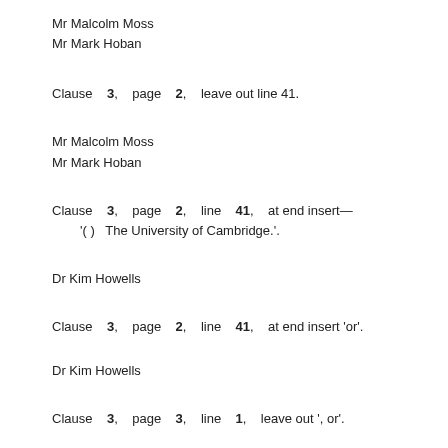Mr Malcolm Moss
Mr Mark Hoban
Clause 3, page 2, leave out line 41.
Mr Malcolm Moss
Mr Mark Hoban
Clause 3, page 2, line 41, at end insert—
'( ) The University of Cambridge.'.
Dr Kim Howells
Clause 3, page 2, line 41, at end insert 'or'.
Dr Kim Howells
Clause 3, page 3, line 1, leave out ', or'.